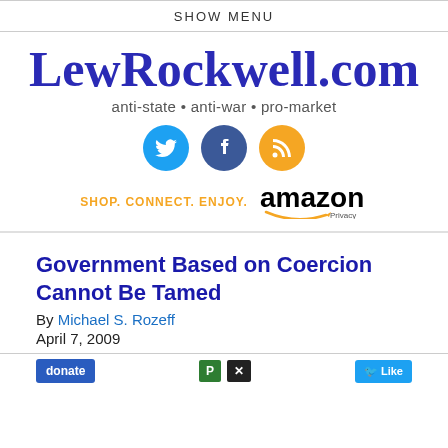SHOW MENU
[Figure (logo): LewRockwell.com logo with tagline 'anti-state • anti-war • pro-market' and social media icons (Twitter, Facebook, RSS) and Amazon affiliate banner]
Government Based on Coercion Cannot Be Tamed
By Michael S. Rozeff
April 7, 2009